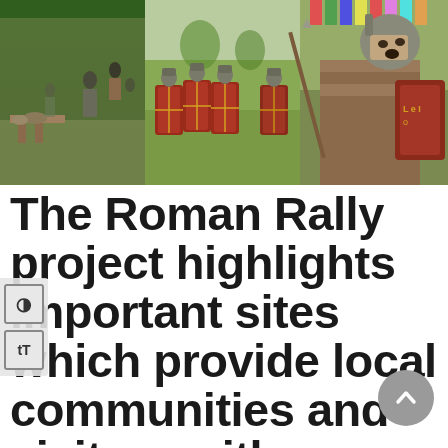[Figure (photo): Three-panel photo strip showing Roman re-enactment scenes: left panel shows people in a field with Roman equipment and crafts displays; middle panel shows Roman soldiers in armor holding red shields in formation; right panel shows a close-up of a Roman soldier in helmet and armor wielding a spear.]
The Roman Rally project highlights important sites which provide local communities and visitors with a connection to the history of Cranborne Chase.